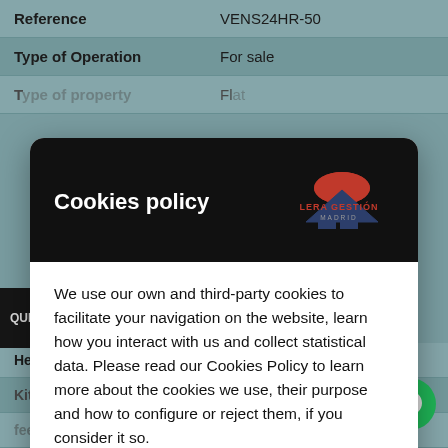| Reference |  |
| --- | --- |
| Reference | VENS24HR-50 |
| Type of Operation | For sale |
| Type of property (partial) | Flat (partial) |
Cookies policy
[Figure (logo): Lera Gestion Madrid logo — red semicircle sun above dark blue house/roof outline with red text LERA GESTION and smaller text MADRID]
We use our own and third-party cookies to facilitate your navigation on the website, learn how you interact with us and collect statistical data. Please read our Cookies Policy to learn more about the cookies we use, their purpose and how to configure or reject them, if you consider it so.
Manage Cookies
Accept all
|  |  |
| --- | --- |
| fees | 61€ |
| Kitchen type | Kitchen-Office - Equipped |
| Heating type | Natural gas (partial) |